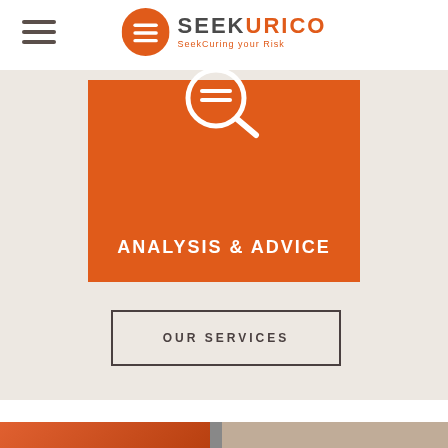[Figure (logo): Seekurico logo with orange circular icon and text SEEKURICO / SeekCuring your Risk]
[Figure (infographic): Orange banner with magnifying glass icon and text ANALYSIS & ADVICE]
OUR SERVICES